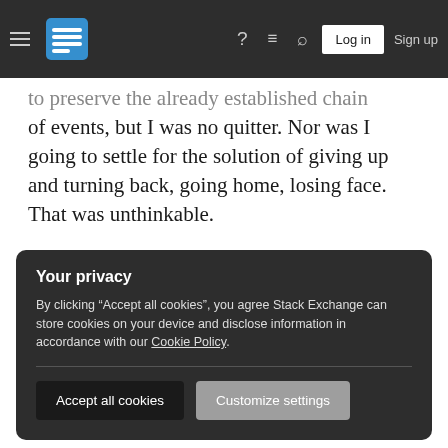Stack Exchange navigation bar with hamburger menu, logo, help, chat, search icons, Log in and Sign up buttons
to preserve the already established chain of events, but I was no quitter. Nor was I going to settle for the solution of giving up and turning back, going home, losing face. That was unthinkable.

It was getting darker by the moment. I looked up at the storm clouds swirling overhead, getting ready to strike. This was such a different life, and somehow I felt more alive now than I ever had: physically and mentally challenged, fighting for my
Your privacy
By clicking "Accept all cookies", you agree Stack Exchange can store cookies on your device and disclose information in accordance with our Cookie Policy.
Accept all cookies
Customize settings